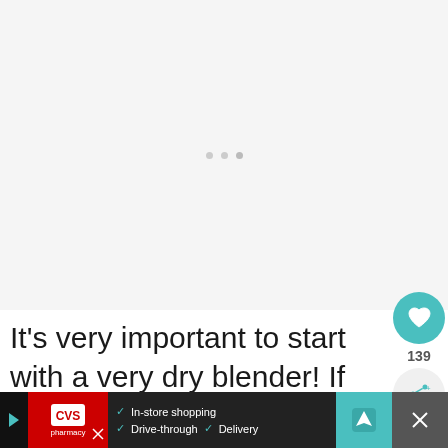[Figure (photo): Large blank/light gray image area at top of page, with three small gray dots visible near center (image loading indicator)]
It's very important to start with a very dry blender! If any moisture gets into the blending process,  your cashew parmesan ch... not.
[Figure (infographic): CVS Pharmacy advertisement banner at the bottom showing: play icon, CVS pharmacy logo, checkmarks for In-store shopping, Drive-through, Delivery, a navigation/map icon, and a close X button]